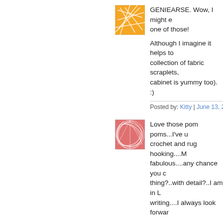[Figure (illustration): Orange square avatar with geometric line pattern]
GENIEARSE. Wow, I might e one of those!
Although I imagine it helps to collection of fabric scraplets, cabinet is yummy too). :)
Posted by: Kitty | June 13, 2008 at 0
[Figure (illustration): Pink/red square avatar with floral line pattern]
Love those pom poms...I've u crochet and rug hooking....M fabulous....any chance you c thing?..with detail?..I am in L writing....I always look forwar
Susan
Posted by: Susan Jonsson | June 13
[Figure (illustration): Green square avatar with spiral/swirl pattern]
Must. See. Quilt. My daughte over it--and the whole room.
Posted by: Amy | June 13, 2008 at 0